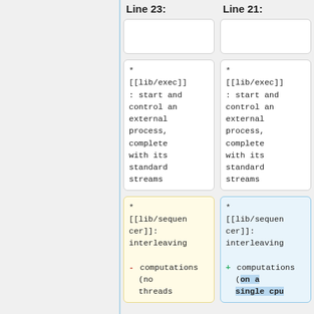Line 23:
Line 21:
* [[lib/exec]]: start and control an external process, complete with its standard streams
* [[lib/exec]]: start and control an external process, complete with its standard streams
- * [[lib/sequencer]]: interleaving
  computations (no threads
+ * [[lib/sequencer]]: interleaving
  computations (on a single cpu